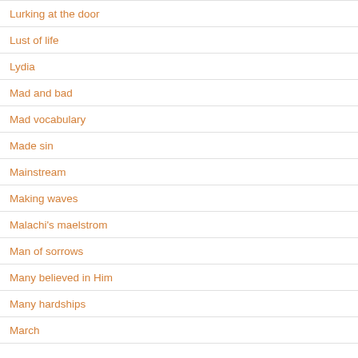Lurking at the door
Lust of life
Lydia
Mad and bad
Mad vocabulary
Made sin
Mainstream
Making waves
Malachi's maelstrom
Man of sorrows
Many believed in Him
Many hardships
March